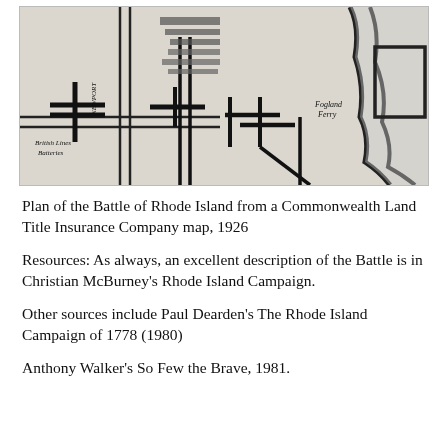[Figure (map): Historical black and white map showing the Plan of the Battle of Rhode Island, featuring roads, fortifications, troop positions, the Fogland Ferry label, British Lines label, and various cartographic details from a 1926 Commonwealth Land Title Insurance Company reproduction.]
Plan of the Battle of Rhode Island from a Commonwealth Land Title Insurance Company map, 1926
Resources: As always, an excellent description of the Battle is in Christian McBurney's Rhode Island Campaign.
Other sources include Paul Dearden's The Rhode Island Campaign of 1778 (1980)
Anthony Walker's So Few the Brave, 1981.